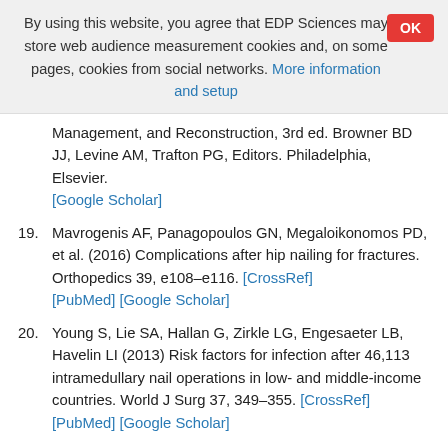By using this website, you agree that EDP Sciences may store web audience measurement cookies and, on some pages, cookies from social networks. More information and setup
Management, and Reconstruction, 3rd ed. Browner BD JJ, Levine AM, Trafton PG, Editors. Philadelphia, Elsevier. [Google Scholar]
19. Mavrogenis AF, Panagopoulos GN, Megaloikonomos PD, et al. (2016) Complications after hip nailing for fractures. Orthopedics 39, e108–e116. [CrossRef] [PubMed] [Google Scholar]
20. Young S, Lie SA, Hallan G, Zirkle LG, Engesaeter LB, Havelin LI (2013) Risk factors for infection after 46,113 intramedullary nail operations in low- and middle-income countries. World J Surg 37, 349–355. [CrossRef] [PubMed] [Google Scholar]
21. Malik MH, Harwood P, Diggle P, Khan SA (2004) Factors affecting rates of infection and nonunion related to…